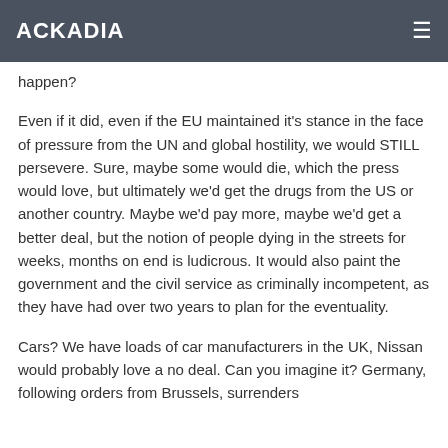ACKADIA
happen?
Even if it did, even if the EU maintained it's stance in the face of pressure from the UN and global hostility, we would STILL persevere. Sure, maybe some would die, which the press would love, but ultimately we'd get the drugs from the US or another country. Maybe we'd pay more, maybe we'd get a better deal, but the notion of people dying in the streets for weeks, months on end is ludicrous. It would also paint the government and the civil service as criminally incompetent, as they have had over two years to plan for the eventuality.
Cars? We have loads of car manufacturers in the UK, Nissan would probably love a no deal. Can you imagine it? Germany, following orders from Brussels, surrenders